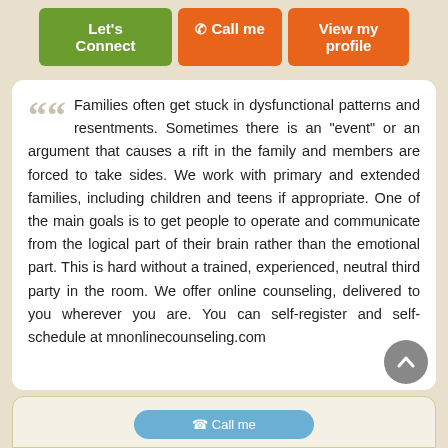[Figure (screenshot): Three buttons: 'Let's Connect' (green), 'Call me' (orange with phone icon), 'View my profile' (orange)]
Families often get stuck in dysfunctional patterns and resentments. Sometimes there is an "event" or an argument that causes a rift in the family and members are forced to take sides. We work with primary and extended families, including children and teens if appropriate. One of the main goals is to get people to operate and communicate from the logical part of their brain rather than the emotional part. This is hard without a trained, experienced, neutral third party in the room. We offer online counseling, delivered to you wherever you are. You can self-register and self-schedule at mnonlinecounseling.com